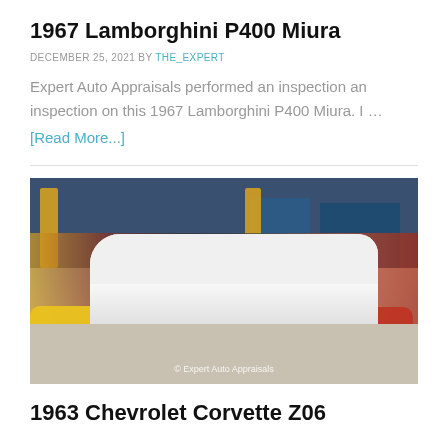1967 Lamborghini P400 Miura
DECEMBER 25, 2021 BY THE_EXPERT
Expert Auto Appraisals performed an inspection an inspection on this 1967 Lamborghini P400 Miura. I … [Read More...]
[Figure (photo): White classic car (Corvette) in a showroom surrounded by other classic cars including a yellow sports car. Watermark reads © Expert Auto Appraisals]
1963 Chevrolet Corvette Z06